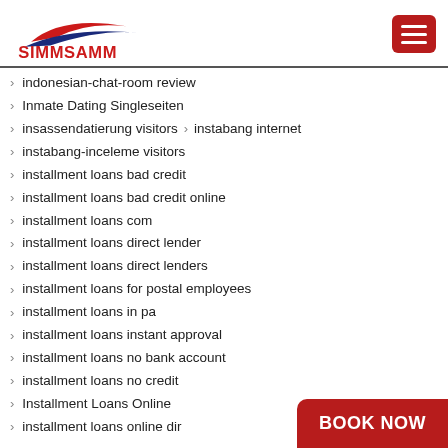[Figure (logo): SIMMSAMM logo with red and blue swoosh graphic above bold red text SIMMSAMM]
indonesian-chat-room review
Inmate Dating Singleseiten
insassendatierung visitors > instabang internet
instabang-inceleme visitors
installment loans bad credit
installment loans bad credit online
installment loans com
installment loans direct lender
installment loans direct lenders
installment loans for postal employees
installment loans in pa
installment loans instant approval
installment loans no bank account
installment loans no credit
Installment Loans Online
installment loans online dir